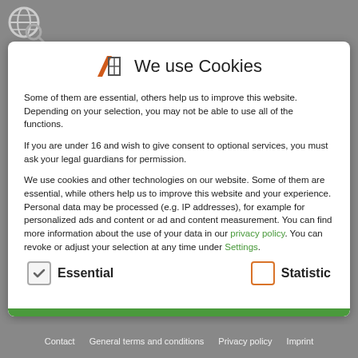[Figure (logo): Globe with magnifying glass icon in gray/white, website search logo]
We use Cookies
Some of them are essential, others help us to improve this website. Depending on your selection, you may not be able to use all of the functions.
If you are under 16 and wish to give consent to optional services, you must ask your legal guardians for permission.
We use cookies and other technologies on our website. Some of them are essential, while others help us to improve this website and your experience. Personal data may be processed (e.g. IP addresses), for example for personalized ads and content or ad and content measurement. You can find more information about the use of your data in our privacy policy. You can revoke or adjust your selection at any time under Settings.
Essential
Statistic
Contact   General terms and conditions   Privacy policy   Imprint